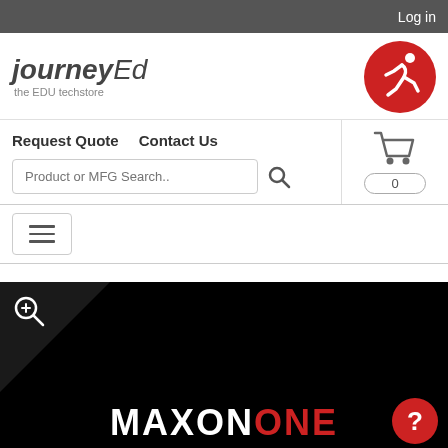Log in
[Figure (logo): JourneyEd logo: stylized running figure in red circle, text 'journeyEd the EDU techstore']
Request Quote   Contact Us
Product or MFG Search..
[Figure (other): Shopping cart icon with count 0]
[Figure (other): Hamburger menu button]
[Figure (photo): Maxon One product image on black background with zoom icon and help button]